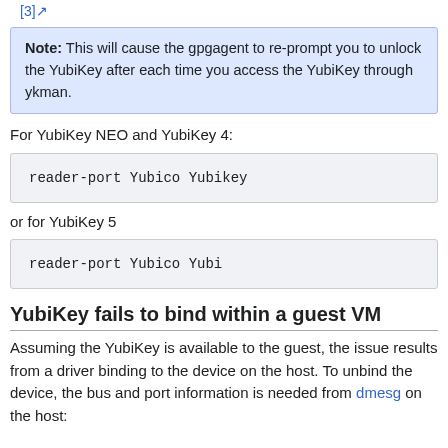[3]
Note: This will cause the gpgagent to re-prompt you to unlock the YubiKey after each time you access the YubiKey through ykman.
For YubiKey NEO and YubiKey 4:
reader-port Yubico Yubikey
or for YubiKey 5
reader-port Yubico Yubi
YubiKey fails to bind within a guest VM
Assuming the YubiKey is available to the guest, the issue results from a driver binding to the device on the host. To unbind the device, the bus and port information is needed from dmesg on the host: